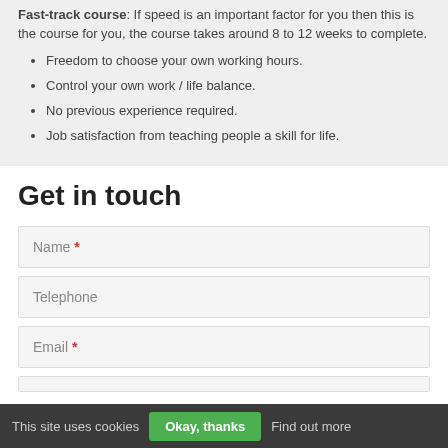Fast-track course: If speed is an important factor for you then this is the course for you, the course takes around 8 to 12 weeks to complete.
Freedom to choose your own working hours.
Control your own work / life balance.
No previous experience required.
Job satisfaction from teaching people a skill for life.
Get in touch
Name *
Telephone
Email *
This site uses cookies   Okay, thanks   Find out more